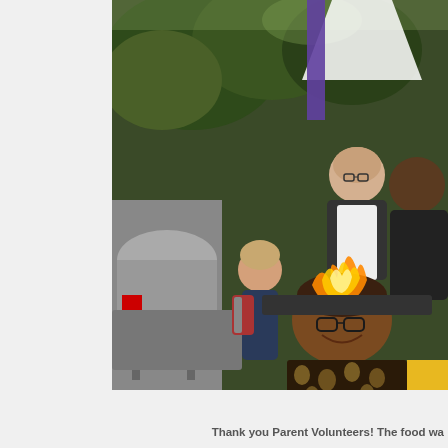[Figure (photo): Outdoor cooking scene with three men grilling, one in foreground wearing patterned shirt and glasses smiling at camera, two in background including one in white apron, with open flame from grill visible. A woman with a backpack stands in the middle background near trees.]
Thank you Parent Volunteers! The food wa...